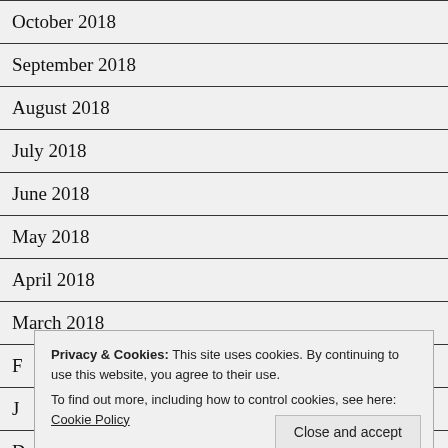October 2018
September 2018
August 2018
July 2018
June 2018
May 2018
April 2018
March 2018
F...
J...
December 2017
Privacy & Cookies: This site uses cookies. By continuing to use this website, you agree to their use.
To find out more, including how to control cookies, see here: Cookie Policy
Close and accept